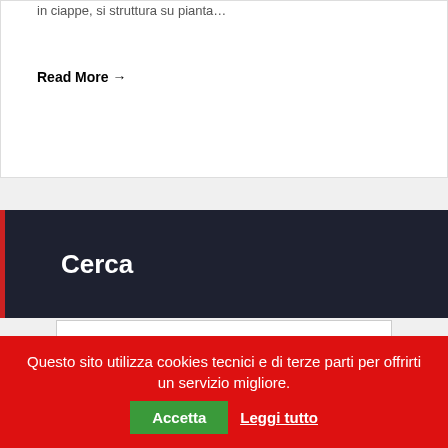in ciappe, si struttura su pianta…
Read More →
Cerca
[Figure (other): Search input text field, empty]
Cerca
Questo sito utilizza cookies tecnici e di terze parti per offrirti un servizio migliore.
Accetta
Leggi tutto